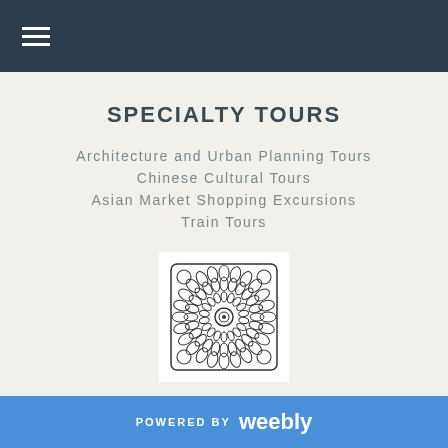☰ (navigation menu)
SPECIALTY TOURS
Architecture and Urban Planning Tours
Chinese Cultural Tours
Asian Market Shopping Excursions
Train Tours
[Figure (illustration): Decorative mandala / ornamental flower pattern in black and white on white background]
EMY LOUIE'S REVIEWS ON TRIPADVISOR
POWERED BY weebly